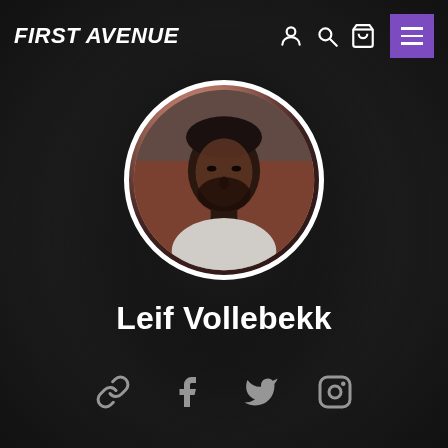FIRST AVENUE
[Figure (photo): Circular profile photo of Leif Vollebekk, a bearded young man, on dark background]
Leif Vollebekk
[Figure (infographic): Social media icons row: link/chain, Facebook, Twitter, Instagram]